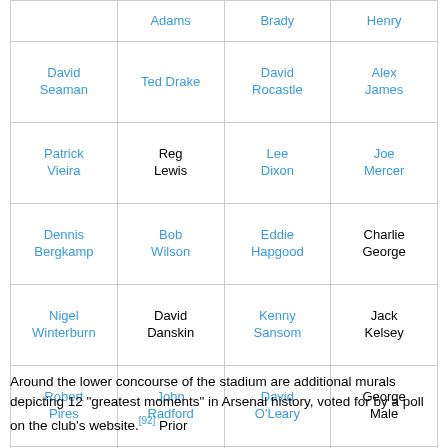|  |  |  |  |
| --- | --- | --- | --- |
| Adams | Brady | Henry |  |
| David Seaman | Ted Drake | David Rocastle | Alex James |
| Patrick Vieira | Reg Lewis | Lee Dixon | Joe Mercer |
| Dennis Bergkamp | Bob Wilson | Eddie Hapgood | Charlie George |
| Nigel Winterburn | David Danskin | Kenny Sansom | Jack Kelsey |
| Robert Pires | John Radford | David O'Leary | George Male |
| Ray Parlour | Frank McLintock | Steve Bould | Pat Rice |
Around the lower concourse of the stadium are additional murals depicting 12 "greatest moments" in Arsenal history, voted for by a poll on the club's website.[92] Prior